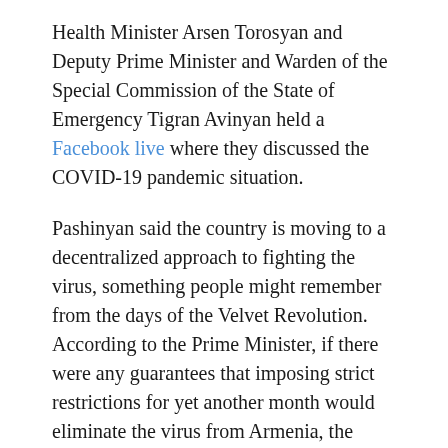Health Minister Arsen Torosyan and Deputy Prime Minister and Warden of the Special Commission of the State of Emergency Tigran Avinyan held a Facebook live where they discussed the COVID-19 pandemic situation.
Pashinyan said the country is moving to a decentralized approach to fighting the virus, something people might remember from the days of the Velvet Revolution. According to the Prime Minister, if there were any guarantees that imposing strict restrictions for yet another month would eliminate the virus from Armenia, the government would have chosen that path. However, it is estimated that the world will be dealing with the pandemic for at least another year.